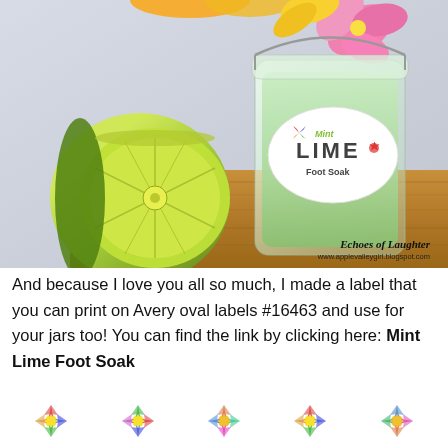[Figure (photo): Photo of a glass jar filled with mint lime foot soak mixture (green-tinted salt scrub), with a decorative label reading 'Mint Lime Foot Soak', a halved lime beside it, pink tropical flower on top, resting on a wooden board. Watermark reads 'Echoes of Laughter / www.applevalleygirl.blogspot.com']
And because I love you all so much, I made a label that you can print on Avery oval labels #16463 and use for your jars too! You can find the link by clicking here: Mint Lime Foot Soak
[Figure (illustration): Row of small colorful decorative flower/pinwheel icons along the bottom of the page]